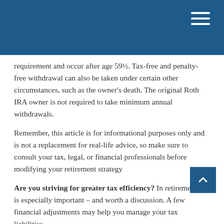requirement and occur after age 59½. Tax-free and penalty-free withdrawal can also be taken under certain other circumstances, such as the owner's death. The original Roth IRA owner is not required to take minimum annual withdrawals.
Remember, this article is for informational purposes only and is not a replacement for real-life advice, so make sure to consult your tax, legal, or financial professionals before modifying your retirement strategy
Are you striving for greater tax efficiency? In retirement, it is especially important – and worth a discussion. A few financial adjustments may help you manage your tax liabilities.
1. IRS.gov, November 16, 2020
2. IRS.gov, June 26, 2021
The content is developed from sources believed to be providing accurate